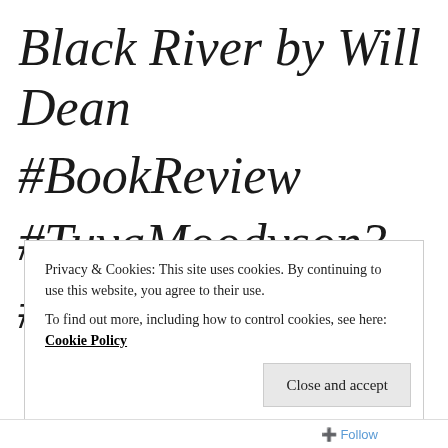Black River by Will Dean #BookReview #TuvaMoodyson3 #PointBlack #4*
Privacy & Cookies: This site uses cookies. By continuing to use this website, you agree to their use.
To find out more, including how to control cookies, see here: Cookie Policy
Close and accept